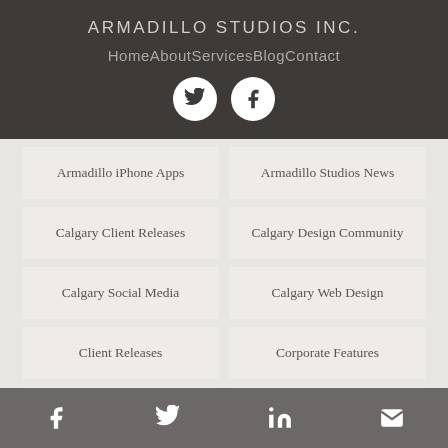ARMADILLO STUDIOS INC.
Home  About  Services  Blog  Contact
[Figure (other): Social media icons: Twitter and Facebook circles in white on dark header background]
Armadillo iPhone Apps
Armadillo Studios News
Calgary Client Releases
Calgary Design Community
Calgary Social Media
Calgary Web Design
Client Releases
Corporate Features
Corporate News
Data Visualization
Facebook  Twitter  LinkedIn  Email